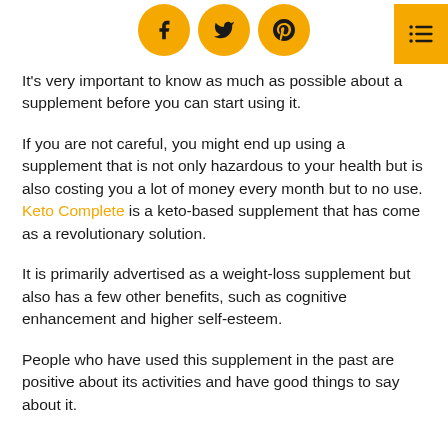[Figure (infographic): Three circular social media share buttons (Facebook, Twitter, Pinterest) in golden/amber color, centered at top of page. A golden table-of-contents icon button in the top right corner.]
It's very important to know as much as possible about a supplement before you can start using it.
If you are not careful, you might end up using a supplement that is not only hazardous to your health but is also costing you a lot of money every month but to no use. Keto Complete is a keto-based supplement that has come as a revolutionary solution.
It is primarily advertised as a weight-loss supplement but also has a few other benefits, such as cognitive enhancement and higher self-esteem.
People who have used this supplement in the past are positive about its activities and have good things to say about it.